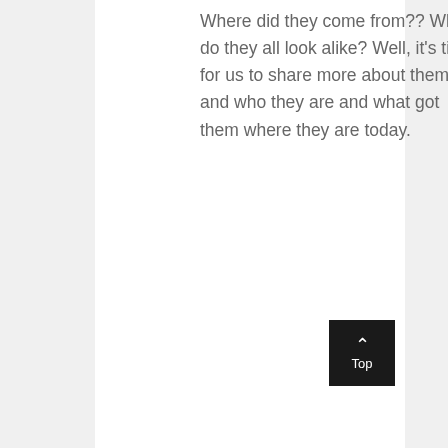Where did they come from?? Why do they all look alike? Well, it's time for us to share more about them and who they are and what got them where they are today.
[Figure (other): Back to top button: dark square button with upward chevron arrow icon and label 'Top']